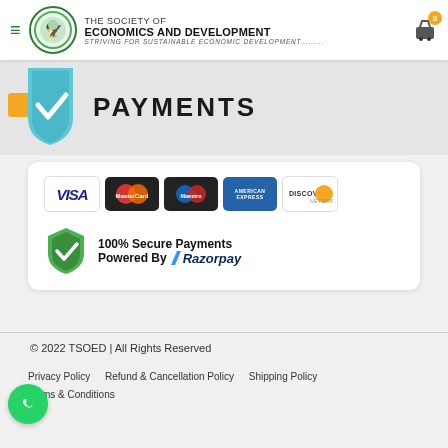THE SOCIETY OF ECONOMICS AND DEVELOPMENT — STRIVING FOR SUSTAINABLE ECONOMIC DEVELOPMENT...
[Figure (screenshot): Secure payments banner with blue shield checkmark icon and bold PAYMENTS title, plus payment card logos (Visa, MasterCard, Maestro, American Express, Discover) and 100% Secure Payments Powered By Razorpay badge]
© 2022 TSOED | All Rights Reserved
Privacy Policy   Refund & Cancellation Policy   Shipping Policy   Terms & Conditions